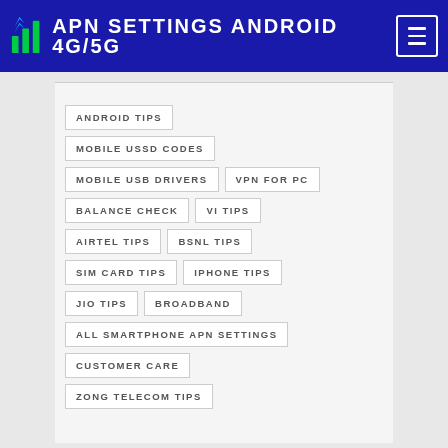APN SETTINGS ANDROID 4G/5G
ANDROID TIPS
MOBILE USSD CODES
MOBILE USB DRIVERS
VPN FOR PC
BALANCE CHECK
VI TIPS
AIRTEL TIPS
BSNL TIPS
SIM CARD TIPS
IPHONE TIPS
JIO TIPS
BROADBAND
ALL SMARTPHONE APN SETTINGS
CUSTOMER CARE
ZONG TELECOM TIPS